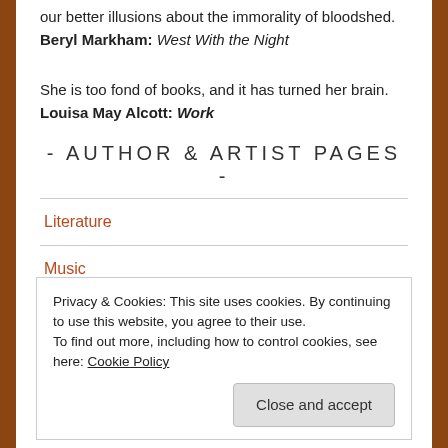our better illusions about the immorality of bloodshed. Beryl Markham: West With the Night
She is too fond of books, and it has turned her brain. Louisa May Alcott: Work
- AUTHOR & ARTIST PAGES -
Literature
Music
Privacy & Cookies: This site uses cookies. By continuing to use this website, you agree to their use.
To find out more, including how to control cookies, see here: Cookie Policy